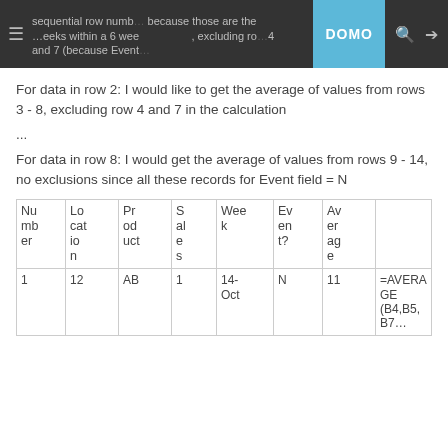sequential row numb… because those are the …eeks within a 6 wee… DOMO …, excluding ro… 4 and 7 (because Event…
For data in row 2: I would like to get the average of values from rows 3 - 8, excluding row 4 and 7 in the calculation
...
For data in row 8: I would get the average of values from rows 9 - 14, no exclusions since all these records for Event field = N
| Number | Location | Product | Sales | Week | Event? | Average |  |
| --- | --- | --- | --- | --- | --- | --- | --- |
| 1 | 12 | AB | 1 | 14-Oct | N | 11 | =AVERAGE |